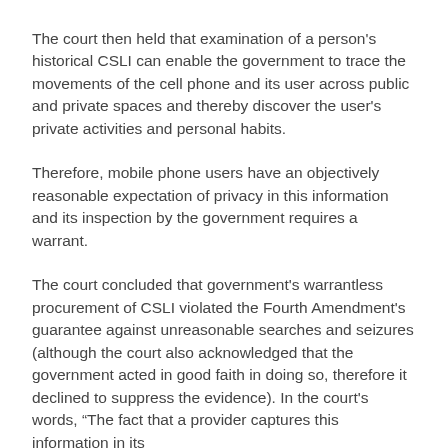The court then held that examination of a person's historical CSLI can enable the government to trace the movements of the cell phone and its user across public and private spaces and thereby discover the user's private activities and personal habits.
Therefore, mobile phone users have an objectively reasonable expectation of privacy in this information and its inspection by the government requires a warrant.
The court concluded that government's warrantless procurement of CSLI violated the Fourth Amendment's guarantee against unreasonable searches and seizures (although the court also acknowledged that the government acted in good faith in doing so, therefore it declined to suppress the evidence). In the court's words, “The fact that a provider captures this information in its